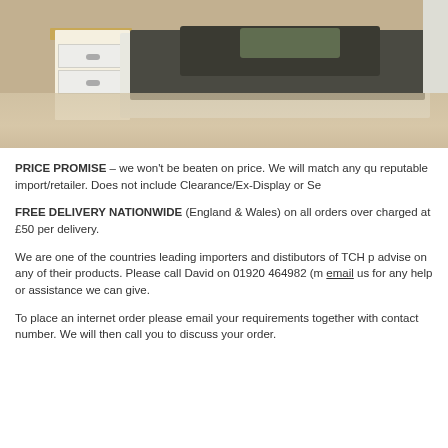[Figure (photo): Bedroom scene showing a white wooden bed frame with dark mattress and dark green/grey bedding/pillows, next to a white nightstand with two drawers and a wooden top, on a light carpet floor.]
PRICE PROMISE – we won't be beaten on price. We will match any quote from a reputable import/retailer. Does not include Clearance/Ex-Display or Se...
FREE DELIVERY NATIONWIDE (England & Wales) on all orders over... charged at £50 per delivery.
We are one of the countries leading importers and distibutors of TCH p... advise on any of their products. Please call David on 01920 464982 (m... email us for any help or assistance we can give.
To place an internet order please email your requirements together with... contact number. We will then call you to discuss your order.